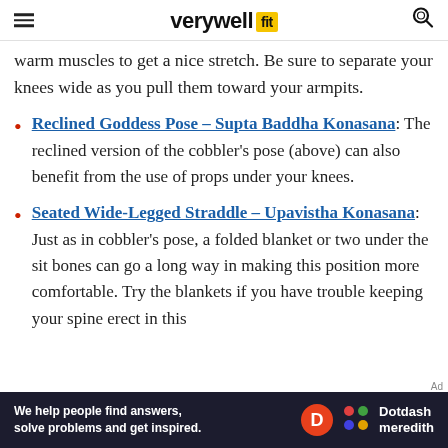verywell fit
warm muscles to get a nice stretch. Be sure to separate your knees wide as you pull them toward your armpits.
Reclined Goddess Pose – Supta Baddha Konasana: The reclined version of the cobbler's pose (above) can also benefit from the use of props under your knees.
Seated Wide-Legged Straddle – Upavistha Konasana: Just as in cobbler's pose, a folded blanket or two under the sit bones can go a long way in making this position more comfortable. Try the blankets if you have trouble keeping your spine erect in this
[Figure (infographic): Dotdash Meredith advertisement banner: 'We help people find answers, solve problems and get inspired.' with D circle logo and Dotdash meredith logo]